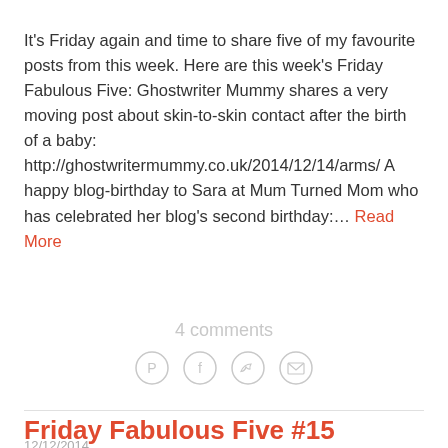It's Friday again and time to share five of my favourite posts from this week. Here are this week's Friday Fabulous Five: Ghostwriter Mummy shares a very moving post about skin-to-skin contact after the birth of a baby: http://ghostwritermummy.co.uk/2014/12/14/arms/ A happy blog-birthday to Sara at Mum Turned Mom who has celebrated her blog's second birthday:… Read More
4 comments
[Figure (other): Social sharing icons: Pinterest, Facebook, Twitter, Email]
Friday Fabulous Five #15
12/12/2014